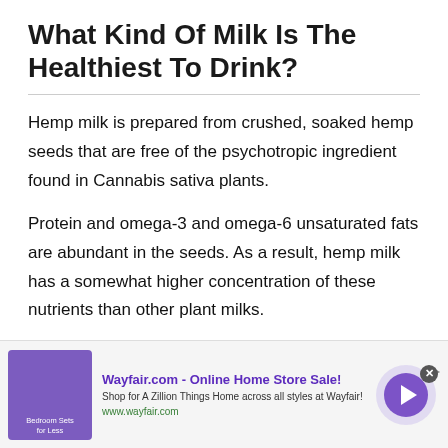What Kind Of Milk Is The Healthiest To Drink?
Hemp milk is prepared from crushed, soaked hemp seeds that are free of the psychotropic ingredient found in Cannabis sativa plants.
Protein and omega-3 and omega-6 unsaturated fats are abundant in the seeds. As a result, hemp milk has a somewhat higher concentration of these nutrients than other plant milks.
[Figure (other): Advertisement banner for Wayfair.com - Online Home Store Sale! with purple bedroom furniture image, arrow button, and close button.]